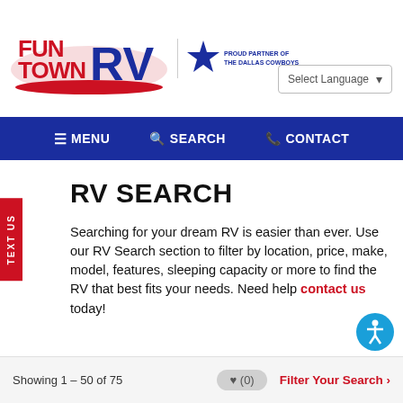[Figure (logo): Fun Town RV logo in red, white and blue with swoosh, alongside Dallas Cowboys star logo and 'Proud Partner of The Dallas Cowboys' text, and a Select Language dropdown]
≡ MENU  🔍 SEARCH  📞 CONTACT
RV SEARCH
Searching for your dream RV is easier than ever. Use our RV Search section to filter by location, price, make, model, features, sleeping capacity or more to find the RV that best fits your needs. Need help contact us today!
Showing 1 – 50 of 75   ♥ (0)   Filter Your Search ›